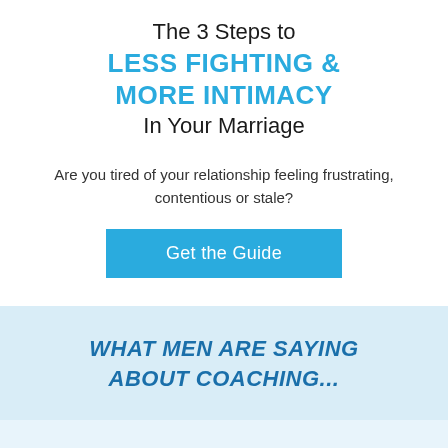The 3 Steps to LESS FIGHTING & MORE INTIMACY In Your Marriage
Are you tired of your relationship feeling frustrating, contentious or stale?
[Figure (other): Blue call-to-action button with text 'Get the Guide']
WHAT MEN ARE SAYING ABOUT COACHING...
[Figure (other): Light blue empty band at bottom of page]